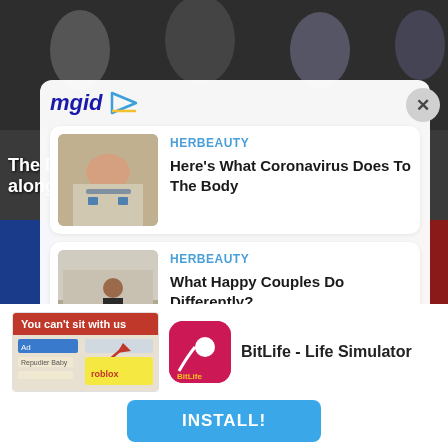[Figure (screenshot): Background photo of band members]
mgid
The Darkness announce new headline UK tour alongside Black
[Figure (photo): Woman in hospital bed with oxygen mask]
HERBEAUTY
Here's What Coronavirus Does To The Body
[Figure (photo): Woman with child in pram]
HERBEAUTY
What Happy Couples Do Differently?
[Figure (screenshot): Ad thumbnail for BitLife game showing You can't sit with us]
[Figure (logo): BitLife app icon]
BitLife - Life Simulator
INSTALL!